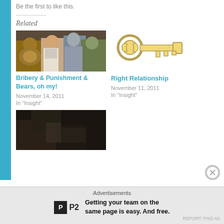Be the first to like this.
Related
[Figure (photo): Wizard of Oz characters: Lion, Dorothy, Tin Man, Scarecrow]
Bribery & Punishment & Bears, oh my!
November 14, 2011
In "Insight"
[Figure (illustration): Golden key illustration]
Right Relationship
November 11, 2011
In "Insight"
[Figure (photo): Dark painting/artwork thumbnail]
Advertisements
Getting your team on the same page is easy. And free.